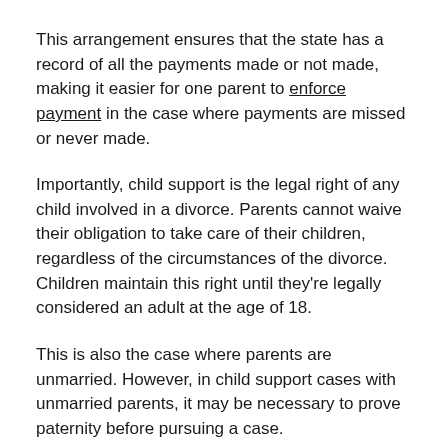This arrangement ensures that the state has a record of all the payments made or not made, making it easier for one parent to enforce payment in the case where payments are missed or never made.
Importantly, child support is the legal right of any child involved in a divorce. Parents cannot waive their obligation to take care of their children, regardless of the circumstances of the divorce. Children maintain this right until they're legally considered an adult at the age of 18.
This is also the case where parents are unmarried. However, in child support cases with unmarried parents, it may be necessary to prove paternity before pursuing a case.